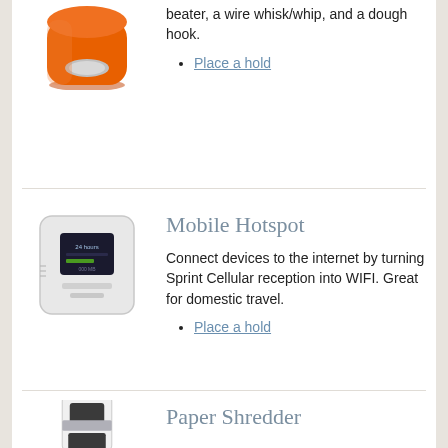[Figure (photo): Orange KitchenAid stand mixer (partial view, top portion)]
beater, a wire whisk/whip, and a dough hook.
Place a hold
[Figure (photo): White mobile hotspot device (Sprint) with a small screen showing signal and data info]
Mobile Hotspot
Connect devices to the internet by turning Sprint Cellular reception into WIFI. Great for domestic travel.
Place a hold
[Figure (photo): White compact paper shredder device with dark slot opening]
Paper Shredder
A paper and disk shredder. Very quiet!
Place a hold